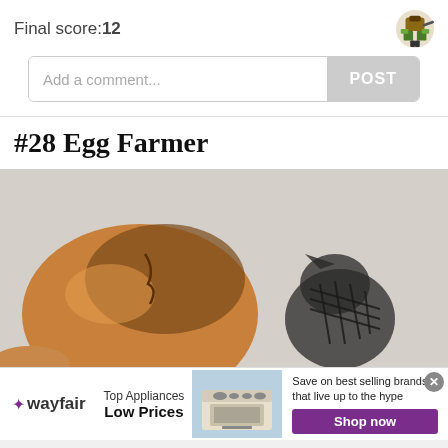Final score:12
Add a comment...
#28 Egg Farmer
[Figure (photo): A cracked brown egg shell with shadow of a small hatchling or creature visible, photographed against a light grey background.]
[Figure (infographic): Wayfair advertisement banner: Top Appliances Low Prices. Save on best selling brands that live up to the hype. Shop now button in purple. Image of a kitchen range/stove.]